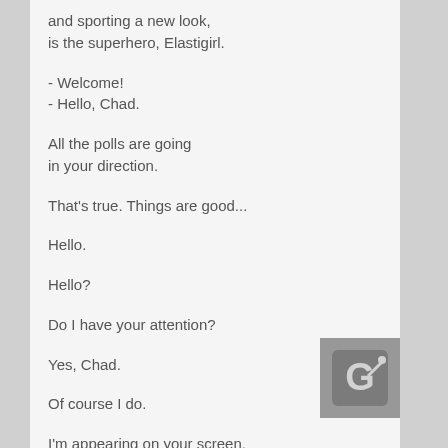and sporting a new look,
is the superhero, Elastigirl.
- Welcome!
- Hello, Chad.
All the polls are going
in your direction.
That's true. Things are good...
Hello.
Hello?
Do I have your attention?
Yes, Chad.
Of course I do.
I'm appearing on your screen.